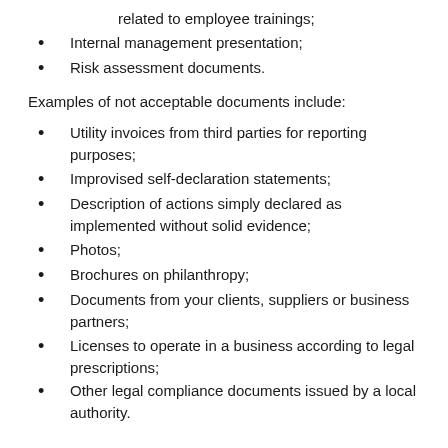related to employee trainings;
Internal management presentation;
Risk assessment documents.
Examples of not acceptable documents include:
Utility invoices from third parties for reporting purposes;
Improvised self-declaration statements;
Description of actions simply declared as implemented without solid evidence;
Photos;
Brochures on philanthropy;
Documents from your clients, suppliers or business partners;
Licenses to operate in a business according to legal prescriptions;
Other legal compliance documents issued by a local authority.